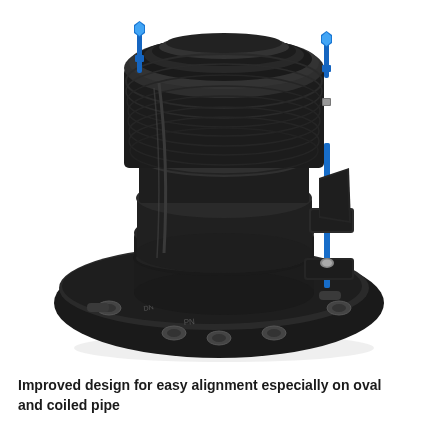[Figure (photo): A black flange adapter fitting with blue bolts/studs visible on the top and right side. The fitting has a circular grooved body with threaded top and a flat oval base flange with multiple bolt holes. The blue zinc-plated bolts are prominent against the black coated cast iron body.]
Improved design for easy alignment especially on oval and coiled pipe